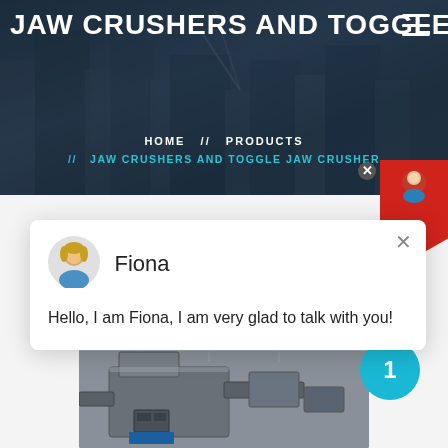JAW CRUSHERS AND TOGGLE JA
HOME // PRODUCTS
// JAW CRUSHERS AND TOGGLE JAW CRUSHER
[Figure (screenshot): Chat popup with avatar of agent named Fiona and message: Hello, I am Fiona, I am very glad to talk with you!]
Fiona
Hello, I am Fiona, I am very glad to talk with you!
[Figure (photo): Industrial jaw crusher machinery photographed in a factory/plant setting, showing heavy grey metal equipment with structural framework.]